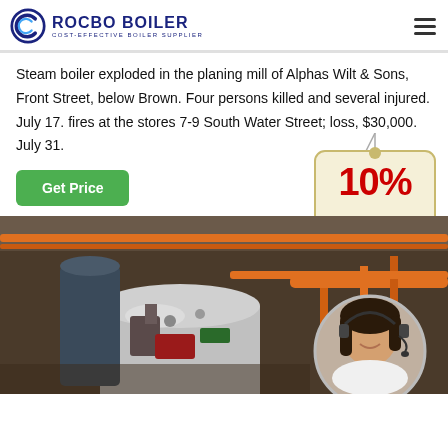ROCBO BOILER — COST-EFFECTIVE BOILER SUPPLIER
Steam boiler exploded in the planing mill of Alphas Wilt & Sons, Front Street, below Brown. Four persons killed and several injured. July 17. fires at the stores 7-9 South Water Street; loss, $30,000. July 31.
[Figure (illustration): 10% Discount badge/tag graphic with red text '10%' and blue text 'DISCOUNT' on a cream-colored hanging tag]
[Figure (photo): Industrial boiler room with large cylindrical boilers, orange pipes and machinery visible. Circular inset photo of a female customer service representative wearing a headset.]